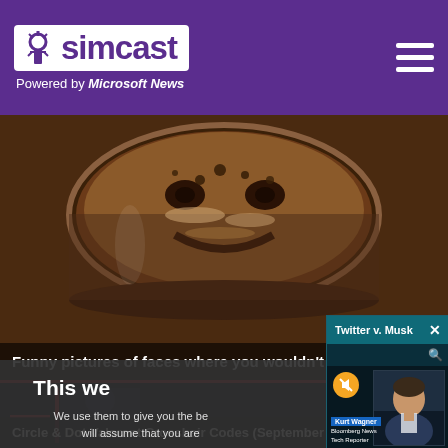simcast — Powered by Microsoft News
[Figure (photo): Close-up overhead view of a cup of coffee with foam patterns that resemble a face]
Funny pictures of faces where you wouldn't expect them!
[Figure (screenshot): Twitter v. Musk news popup overlay showing a Bloomberg News Tech Reporter Kurt Wagner in a video player with mute button, over a dark website]
This we...
We use them to give you the be... will assume that you are...
Circle & Dot Valorant Crosshair Codes (September 2022)